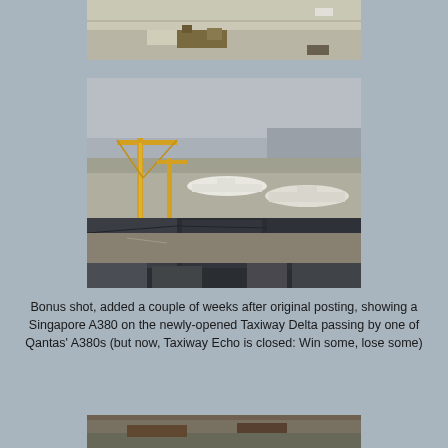[Figure (photo): Aerial view of airport runway with construction equipment/vehicle visible on the tarmac]
[Figure (photo): Aerial view of an airport terminal with construction cranes, showing a Singapore Airlines A380 on Taxiway Delta passing by a Qantas A380, with airport apron and taxiways visible]
Bonus shot, added a couple of weeks after original posting, showing a Singapore A380 on the newly-opened Taxiway Delta passing by one of Qantas' A380s (but now, Taxiway Echo is closed: Win some, lose some)
[Figure (photo): Partial aerial view of airport runway area, cropped at bottom of page]